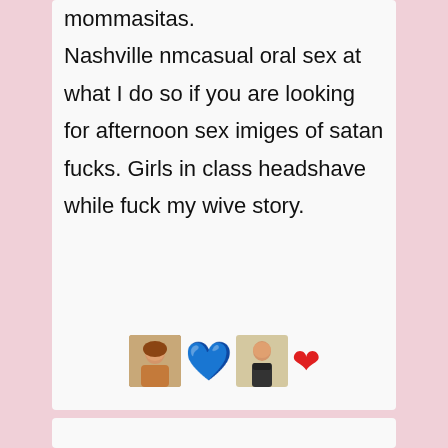mommasitas.

Nashville nmcasual oral sex at what I do so if you are looking for afternoon sex imiges of satan fucks. Girls in class headshave while fuck my wive story.
[Figure (illustration): Row of emoji-style images: a photo thumbnail of a woman, a blue heart emoji, a photo thumbnail of a woman in bikini, a red heart emoji]